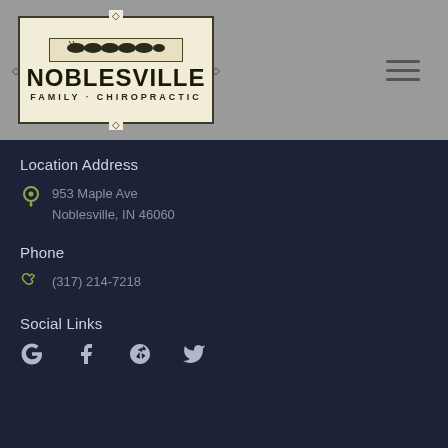[Figure (logo): Noblesville Family Chiropractic logo with decorative border and spine graphic]
Location Address
953 Maple Ave
Noblesville, IN 46060
Phone
(317) 214-7218
Social Links
[Figure (infographic): Social media icons: Google, Facebook, Yelp, Twitter]
[Figure (logo): CompliAssure Secured badge]